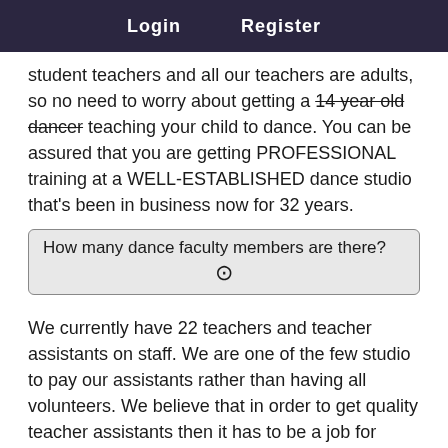Login   Register
student teachers and all our teachers are adults, so no need to worry about getting a 14 year old dancer teaching your child to dance. You can be assured that you are getting PROFESSIONAL training at a WELL-ESTABLISHED dance studio that's been in business now for 32 years.
How many dance faculty members are there?
We currently have 22 teachers and teacher assistants on staff. We are one of the few studio to pay our assistants rather than having all volunteers. We believe that in order to get quality teacher assistants then it has to be a job for them and they have to be held accountable for their actions.
Is there a dress code?
Yes there is a Dress code at PDA. We believe it is